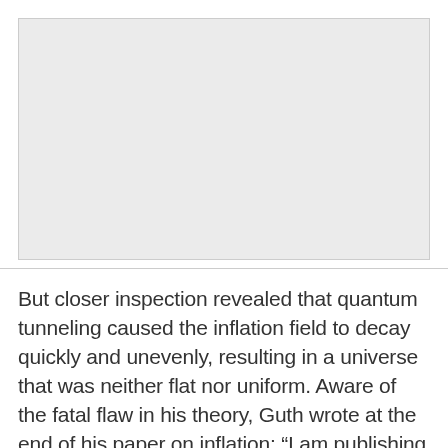[Figure (other): Large image placeholder (grey rectangle) occupying the upper portion of the page]
But closer inspection revealed that quantum tunneling caused the inflation field to decay quickly and unevenly, resulting in a universe that was neither flat nor uniform. Aware of the fatal flaw in his theory, Guth wrote at the end of his paper on inflation: “I am publishing this paper in the hope that it will…